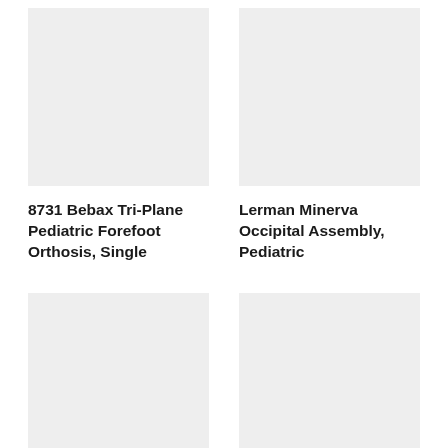[Figure (photo): Product image placeholder for 8731 Bebax Tri-Plane Pediatric Forefoot Orthosis, Single (light gray box)]
[Figure (photo): Product image placeholder for Lerman Minerva Occipital Assembly, Pediatric (light gray box)]
8731 Bebax Tri-Plane Pediatric Forefoot Orthosis, Single
Lerman Minerva Occipital Assembly, Pediatric
[Figure (photo): Product image placeholder (light gray box, bottom left)]
[Figure (photo): Product image placeholder (light gray box, bottom right)]